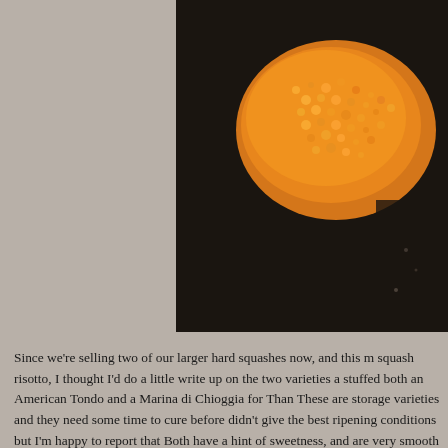[Figure (photo): Close-up photo of golden-orange risotto or rice dish cooking in a dark pan, showing textured grains of arborio rice]
Since we're selling two of our larger hard squashes now, and this m squash risotto, I thought I'd do a little write up on the two varieties a stuffed both an American Tondo and a Marina di Chioggia for Than These are storage varieties and they need some time to cure before didn't give the best ripening conditions but I'm happy to report that Both have a hint of sweetness, and are very smooth and firm fleshe pumpkins, or acorns later in the season.
We didn't eat all of the squash at Thanksgiving so I had a couple of night I sautéed some shallot and chanterelle in the bottom of a pre roasted squash and two cups of arborio rice, stirred that around an vegetable stock and locked the lid in place. If you've never used a